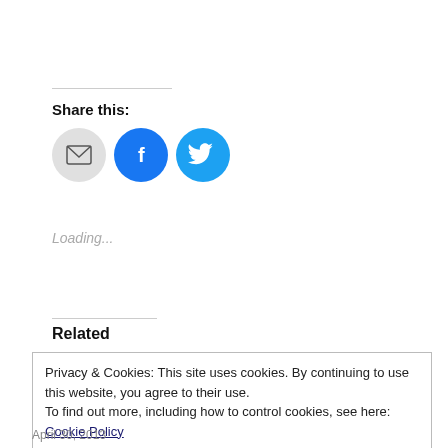Share this:
[Figure (illustration): Three social sharing icon buttons: email (grey circle), Facebook (blue circle with f), Twitter (cyan circle with bird)]
Loading...
Related
Privacy & Cookies: This site uses cookies. By continuing to use this website, you agree to their use.
To find out more, including how to control cookies, see here: Cookie Policy
Close and accept
April 30, 2013